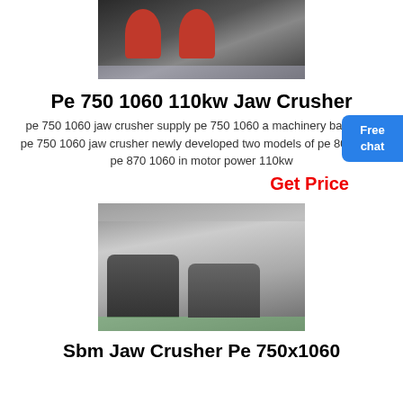[Figure (photo): Photograph of red and black jaw crushers on a reflective factory floor, viewed from front]
Pe 750 1060 110kw Jaw Crusher
pe 750 1060 jaw crusher supply pe 750 1060 a machinery based on pe 750 1060 jaw crusher newly developed two models of pe 800 1060 pe 870 1060 in motor power 110kw
Get Price
[Figure (photo): Photograph of a row of large mobile jaw crusher machines in an industrial warehouse with green floor]
Sbm Jaw Crusher Pe 750x1060